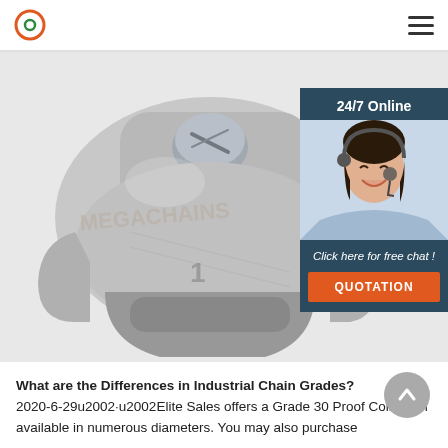Logo and navigation menu
[Figure (photo): Close-up photo of a silver metallic industrial chain coupling/clip component (Grade 30 Proof Coil chain fitting) on a white background]
[Figure (infographic): Chat widget overlay with '24/7 Online' header, female customer service agent with headset, 'Click here for free chat!' text, and orange QUOTATION button]
What are the Differences in Industrial Chain Grades? 2020-6-29u2002·u2002Elite Sales offers a Grade 30 Proof Coil chain available in numerous diameters. You may also purchase